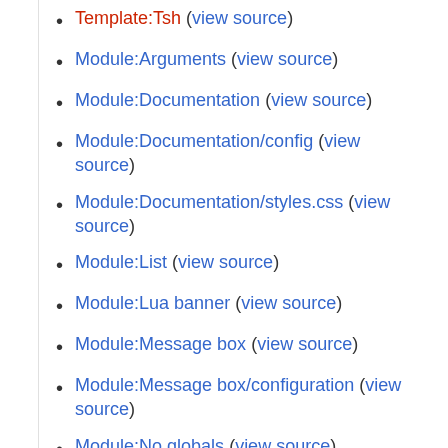Template:Tsh (view source)
Module:Arguments (view source)
Module:Documentation (view source)
Module:Documentation/config (view source)
Module:Documentation/styles.css (view source)
Module:List (view source)
Module:Lua banner (view source)
Module:Message box (view source)
Module:Message box/configuration (view source)
Module:No globals (view source)
Module:String (view source)